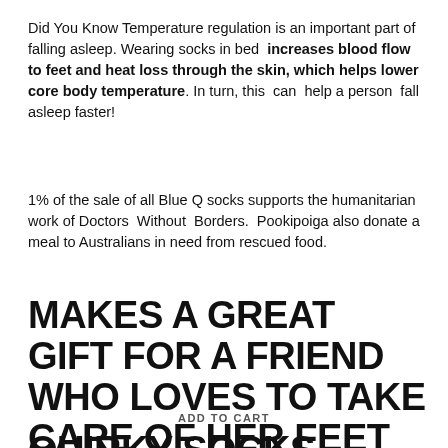Did You Know Temperature regulation is an important part of falling asleep. Wearing socks in bed increases blood flow to feet and heat loss through the skin, which helps lower core body temperature. In turn, this can help a person fall asleep faster!
1% of the sale of all Blue Q socks supports the humanitarian work of Doctors Without Borders. Pookipoiga also donate a meal to Australians in need from rescued food.
MAKES A GREAT GIFT FOR A FRIEND WHO LOVES TO TAKE CARE OF HER FEET AND LIKES WEARING QUIRKY SOCKS
ADD TO CART